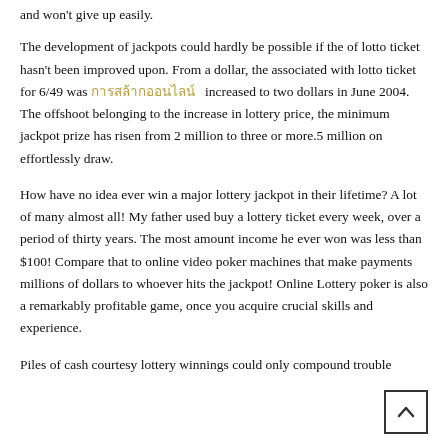and won't give up easily.
The development of jackpots could hardly be possible if the of lotto ticket hasn't been improved upon. From a dollar, the associated with lotto ticket for 6/49 was [linked text] increased to two dollars in June 2004. The offshoot belonging to the increase in lottery price, the minimum jackpot prize has risen from 2 million to three or more.5 million on effortlessly draw.
How have no idea ever win a major lottery jackpot in their lifetime? A lot of many almost all! My father used buy a lottery ticket every week, over a period of thirty years. The most amount income he ever won was less than $100! Compare that to online video poker machines that make payments millions of dollars to whoever hits the jackpot! Online Lottery poker is also a remarkably profitable game, once you acquire crucial skills and experience.
Piles of cash courtesy lottery winnings could only compound trouble